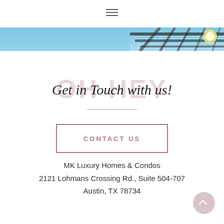[Figure (screenshot): Hamburger/menu icon (three horizontal lines) centered near top of page]
[Figure (photo): Narrow horizontal banner photo of outdoor string lights and ceiling structure against blue sky]
OH HEY
Get in Touch with us!
CONTACT US
MK Luxury Homes & Condos
2121 Lohmans Crossing Rd., Suite 504-707
Austin, TX 78734